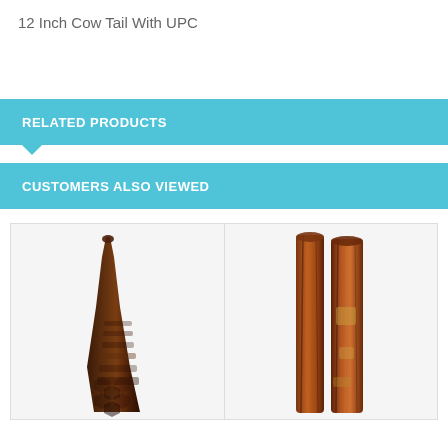12 Inch Cow Tail With UPC
RELATED PRODUCTS
CUSTOMERS ALSO VIEWED
[Figure (photo): A single brown dried cow tail treat standing upright, tapering from wide base to narrow top, with textured dark brown surface]
[Figure (photo): Two brown dried bully stick dog treats standing side by side, with reddish-brown color and rough textured surface]